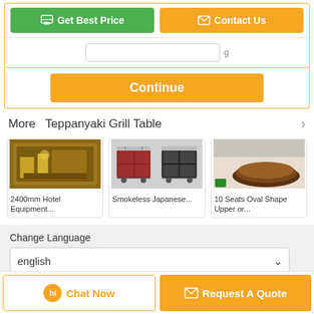[Figure (screenshot): Get Best Price green button and Contact Us orange button at top]
[Figure (screenshot): Orange Continue button]
More  Teppanyaki Grill Table
[Figure (photo): 2400mm Hotel Equipment... - photo of hotel/restaurant interior]
[Figure (photo): Smokeless Japanese... - photo of food service carts]
[Figure (photo): 10 Seats Oval Shape Upper or... - photo of oval teppanyaki table]
2400mm Hotel Equipment...
Smokeless Japanese...
10 Seats Oval Shape Upper or...
Change Language
english
[Figure (screenshot): Chat Now button and Request A Quote button at bottom]